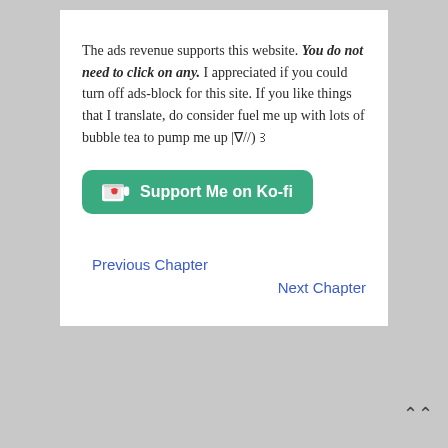The ads revenue supports this website. You do not need to click on any. I appreciated if you could turn off ads-block for this site. If you like things that I translate, do consider fuel me up with lots of bubble tea to pump me up |∇//)꒱
[Figure (other): Green Ko-fi support button with coffee cup icon and heart, labeled 'Support Me on Ko-fi']
Previous Chapter
Next Chapter